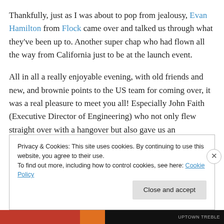Thankfully, just as I was about to pop from jealousy, Evan Hamilton from Flock came over and talked us through what they've been up to.  Another super chap who had flown all the way from California just to be at the launch event.
All in all a really enjoyable evening, with old friends and new, and brownie points to the US team for coming over, it was a real pleasure to meet you all!  Especially John Faith (Executive Director of Engineering) who not only flew straight over with a hangover but also gave us an
Privacy & Cookies: This site uses cookies. By continuing to use this website, you agree to their use.
To find out more, including how to control cookies, see here: Cookie Policy